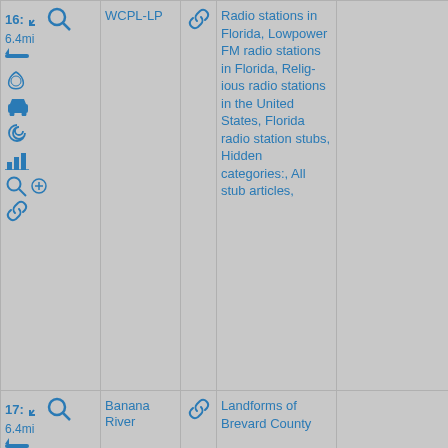| Controls | Name | Link | Categories | Extra |
| --- | --- | --- | --- | --- |
| 16: 6.4mi [icons] | WCPL-LP | [link] | Radio stations in Florida, Low-power FM radio stations in Florida, Religious radio stations in the United States, Florida radio station stubs, Hidden categories:, All stub articles, |  |
| 17: 6.4mi [icons] | Banana River | [link] | Landforms of Brevard County |  |